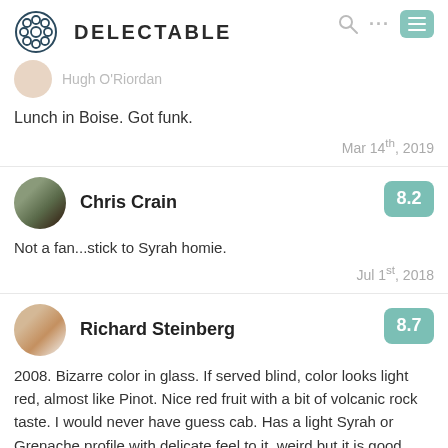[Figure (logo): Delectable app logo — snowflake/flower icon and DELECTABLE text]
Hugh O'Riordan
Lunch in Boise. Got funk.
Mar 14th, 2019
Chris Crain
8.2
Not a fan...stick to Syrah homie.
Jul 1st, 2018
Richard Steinberg
8.7
2008. Bizarre color in glass. If served blind, color looks light red, almost like Pinot. Nice red fruit with a bit of volcanic rock taste. I would never have guess cab. Has a light Syrah or Grenache profile with delicate feel to it. weird but it is good. Make you think about varietal character in different regions